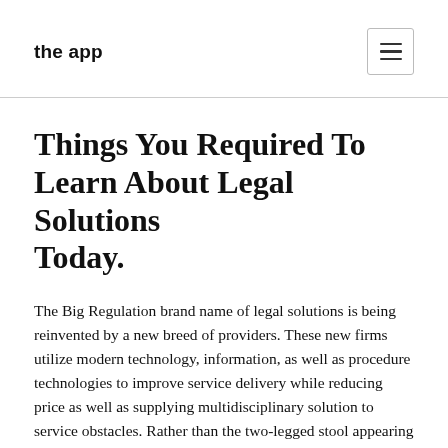the app
Things You Required To Learn About Legal Solutions Today.
The Big Regulation brand name of legal solutions is being reinvented by a new breed of providers. These new firms utilize modern technology, information, as well as procedure technologies to improve service delivery while reducing price as well as supplying multidisciplinary solution to service obstacles. Rather than the two-legged stool appearing like a chair and a leg, lawful delivery has